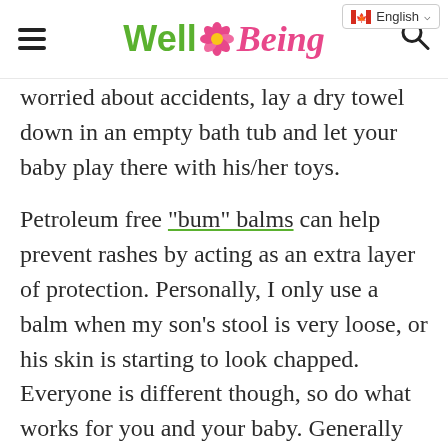WellBeing — English (Canada)
worried about accidents, lay a dry towel down in an empty bath tub and let your baby play there with his/her toys.
Petroleum free “bum” balms can help prevent rashes by acting as an extra layer of protection. Personally, I only use a balm when my son’s stool is very loose, or his skin is starting to look chapped. Everyone is different though, so do what works for you and your baby. Generally speaking,